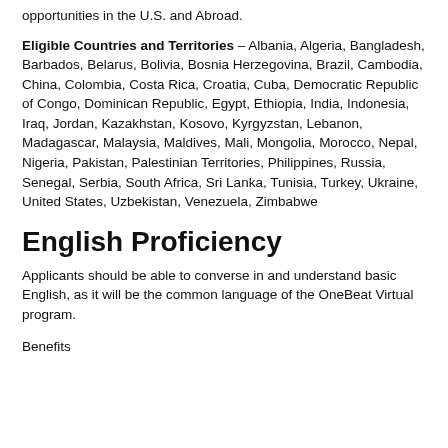opportunities in the U.S. and Abroad.
Eligible Countries and Territories – Albania, Algeria, Bangladesh, Barbados, Belarus, Bolivia, Bosnia Herzegovina, Brazil, Cambodia, China, Colombia, Costa Rica, Croatia, Cuba, Democratic Republic of Congo, Dominican Republic, Egypt, Ethiopia, India, Indonesia, Iraq, Jordan, Kazakhstan, Kosovo, Kyrgyzstan, Lebanon, Madagascar, Malaysia, Maldives, Mali, Mongolia, Morocco, Nepal, Nigeria, Pakistan, Palestinian Territories, Philippines, Russia, Senegal, Serbia, South Africa, Sri Lanka, Tunisia, Turkey, Ukraine, United States, Uzbekistan, Venezuela, Zimbabwe
English Proficiency
Applicants should be able to converse in and understand basic English, as it will be the common language of the OneBeat Virtual program.
Benefits